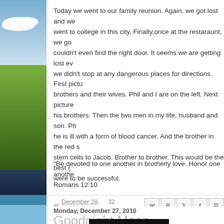[Figure (illustration): Blog sidebar with sky, clouds, green grass/landscape, and dark blue bottom section]
Today we went to our family reunion. Again, we got lost and we went to college in this city. Finally,once at the restaraunt, we go couldn't even find the right door. It seems we are getting lost ev we didn't stop at any dangerous places for directions. First pictu brothers and their wives. Phil and I are on the left. Next picture his brothers. Then the two men in my life, husband and son. Ph he is ill with a form of blood cancer. And the brother in the red s stem cells to Jacob. Brother to brother. This would be the best ( were to be successful.
"Be devoted to one another in brotherly love. Honor one anothe Romans 12:10
at December 28, 2010   32 comments:
Monday, December 27, 2010
Goodnight Moon